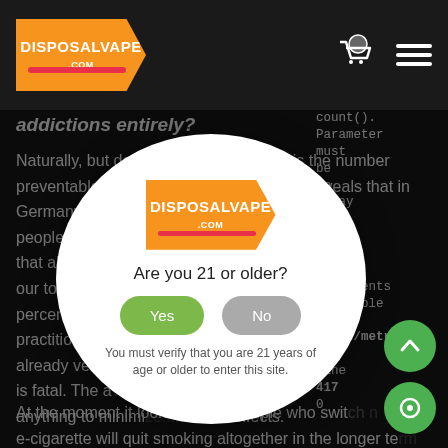[Figure (logo): DisposalVape.com logo - orange arrow/chevron shape with white text]
addictions entirely?
Naturally, but don't forget that smoking is the number preventable cause... study reveals that in Germany, 328... not fully people. The... We know that all tob... our tobacco percent a... practitioner already very... oise that is fatal. The av... we do anything to minimi... effects.
At the moment it looks like... people who switch e-cigarette will quit smoking altogether in the longer te... because e-cigarettes are less addictive because the nicoti... builds up more slowly than with normal smoking. A smoker
[Figure (screenshot): Age verification modal popup with DisposalVape logo, question 'Are you 21 or older?', Yes and No buttons, and note 'You must verify that you are 21 years of age or older to enter this site.']
count(). Parameter must be an array or an object that implements Countable in /home/metr on line 4170